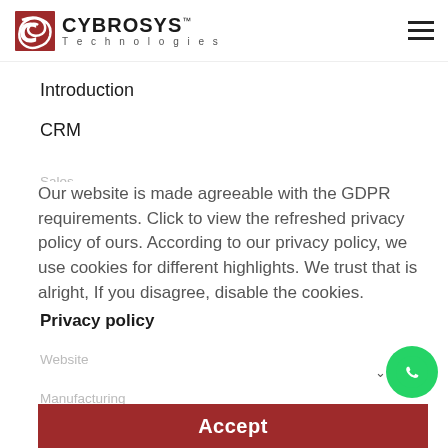CYBROSYS Technologies
Introduction
CRM
Our website is made agreeable with the GDPR requirements. Click to view the refreshed privacy policy of ours. According to our privacy policy, we use cookies for different highlights. We trust that is alright, If you disagree, disable the cookies.
Privacy policy
Accept
Sales
Invoicing
Website
Manufacturing
Maintenance
Repair